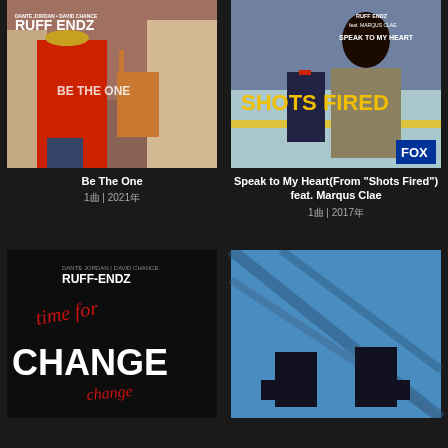[Figure (photo): Album cover for Ruff Endz 'Be The One' showing two men in colorful outfits on a city street]
Be The One
1曲 | 2021年
[Figure (photo): Promotional image for 'Shots Fired' on FOX featuring two actors, with text 'Ruff Endz feat. Marqus Clae Speak to My Heart']
Speak to My Heart(From "Shots Fired") feat. Marqus Clae
1曲 | 2017年
[Figure (photo): Album cover for Ruff-Endz 'Time for Change' with red script lettering and white bold text on dark background]
[Figure (photo): Photo of two men in dark clothing seated against a glass/steel architectural background]